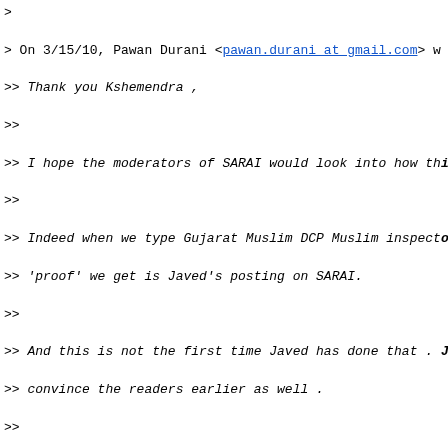> On 3/15/10, Pawan Durani <pawan.durani at gmail.com> w
>> Thank you Kshemendra ,
>>
>> I hope the moderators of SARAI would look into how thi
>>
>> Indeed when we type Gujarat Muslim DCP Muslim inspecto
>> 'proof' we get is Javed's posting on SARAI.
>>
>> And this is not the first time Javed has done that . J
>> convince the readers earlier as well .
>>
>> Hope the moderators look into this and prevent misuse
>> has members from across the world.
>>
>> @Javed : you need to apologize to this group for your
>>
>> Pawan
>>
>>
>>
>> On Mon, Mar 15, 2010 at 5:46 PM, Kshmendra Kaul <kshme
>> wrote:
>>> Javed very keenly identifies the ATS Inspector as a
>>> the Subject Field " Gujarat DCP shoots Muslim inspec
>>>
>>> The word "Muslim" is nowhere to be found on the very
>>> article as provided by Javed himself.
>>>
>>> Not satisfied with having done so, Javed adds the con
>>> police officers are not safe from fake encounters